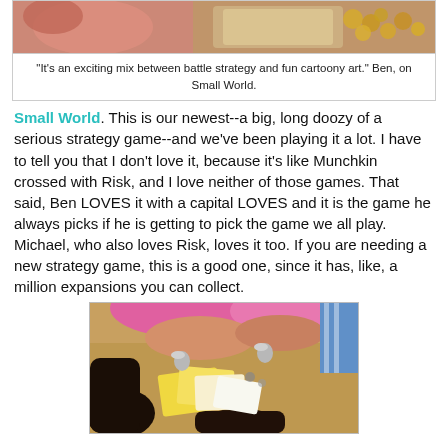[Figure (photo): Photo of a board game being played, showing hands and game pieces from above]
"It's an exciting mix between battle strategy and fun cartoony art." Ben, on Small World.
Small World. This is our newest--a big, long doozy of a serious strategy game--and we've been playing it a lot. I have to tell you that I don't love it, because it's like Munchkin crossed with Risk, and I love neither of those games. That said, Ben LOVES it with a capital LOVES and it is the game he always picks if he is getting to pick the game we all play. Michael, who also loves Risk, loves it too. If you are needing a new strategy game, this is a good one, since it has, like, a million expansions you can collect.
[Figure (photo): Children playing a board game seated on the floor around a table with cards and game pieces]